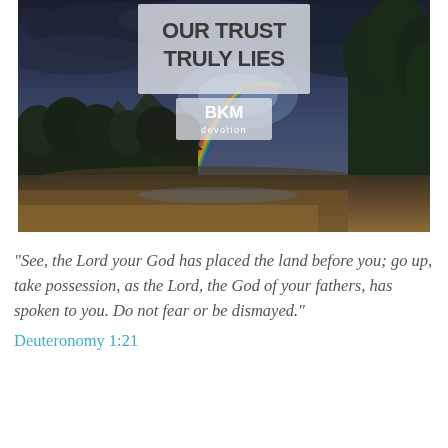[Figure (illustration): Landscape photo of valley with dramatic dark stormy sky and rainbow visible in center. Mountains and dense trees on right side. A white semi-transparent box overlay at top center contains the text 'OUR TRUST TRULY LIES' in dark sans-serif bold letters. Below that, a smaller white box with 'BKM devotion' logo in bold.]
“See, the Lord your God has placed the land before you; go up, take possession, as the Lord, the God of your fathers, has spoken to you. Do not fear or be dismayed.”
Deuteronomy 1:21